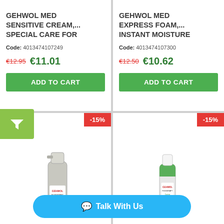GEHWOL MED SENSITIVE CREAM,... SPECIAL CARE FOR
Code: 4013474107249
€12.95  €11.01
ADD TO CART
GEHWOL MED EXPRESS FOAM,... INSTANT MOISTURE
Code: 4013474107300
€12.50  €10.62
ADD TO CART
[Figure (photo): GEHWOL FUSSKRAFT Nail and skin protection spray product image]
[Figure (photo): GEHWOL FUSSKRAFT Caring Foot Spray product image]
-15%
-15%
Talk With Us